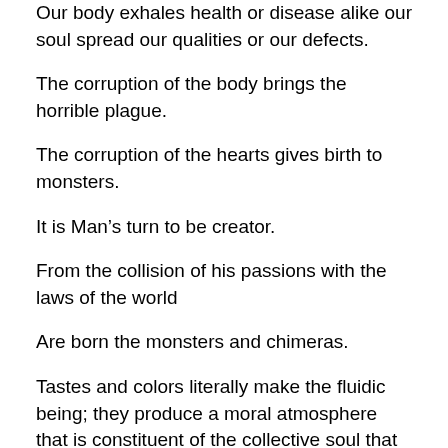Our body exhales health or disease alike our soul spread our qualities or our defects.
The corruption of the body brings the horrible plague.
The corruption of the hearts gives birth to monsters.
It is Man’s turn to be creator.
From the collision of his passions with the laws of the world
Are born the monsters and chimeras.
Tastes and colors literally make the fluidic being; they produce a moral atmosphere that is constituent of the collective soul that affects the individual.
In Jerusalem, one becomes a fanatic-even without faith, alike in Paris one becomes a sceptic with the best of